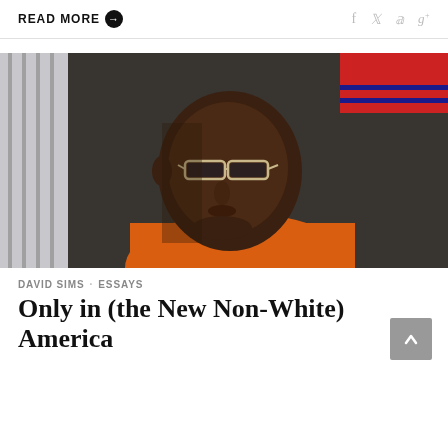READ MORE →   f  🐦  𝗽  g+
[Figure (photo): A young Black man wearing glasses and an orange prison jumpsuit looks off to the side, photographed in a dimly lit interior setting.]
DAVID SIMS · ESSAYS
Only in (the New Non-White) America